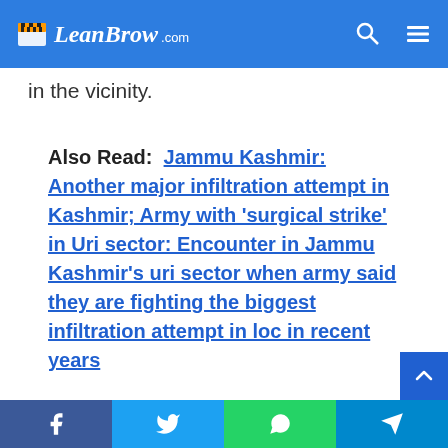LeanBrow .com
in the vicinity.
Also Read:  Jammu Kashmir: Another major infiltration attempt in Kashmir; Army with 'surgical strike' in Uri sector: Encounter in Jammu Kashmir's uri sector when army said they are fighting the biggest infiltration attempt in loc in recent years
Some of the recent statements made by the Tamil Nadu BJP unit and AIADMK leaders confirm the new moves. K Annamalai, a former IPS officer from Karnataka, is a native of Konkan. The Murugan, who held the ministerial position in the cabinet reshuffle d…